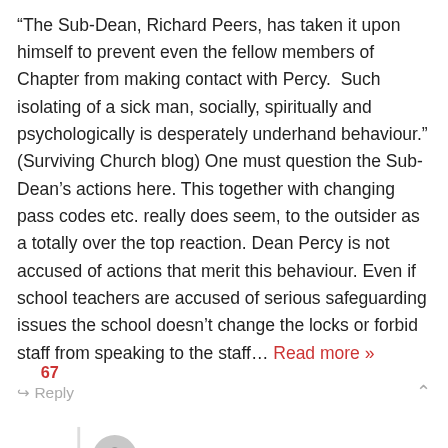“The Sub-Dean, Richard Peers, has taken it upon himself to prevent even the fellow members of Chapter from making contact with Percy. Such isolating of a sick man, socially, spiritually and psychologically is desperately underhand behaviour.” (Surviving Church blog) One must question the Sub-Dean’s actions here. This together with changing pass codes etc. really does seem, to the outsider as a totally over the top reaction. Dean Percy is not accused of actions that merit this behaviour. Even if school teachers are accused of serious safeguarding issues the school doesn’t change the locks or forbid staff from speaking to the staff… Read more »
↪ Reply
Revd Mark Bennet
Reply to Dave · 1 year ago
Just to note that if someone is sick, it is sometimes appropriate to advise people not to get in touch – it may be, for example, that a doctor would advise a complete break and...